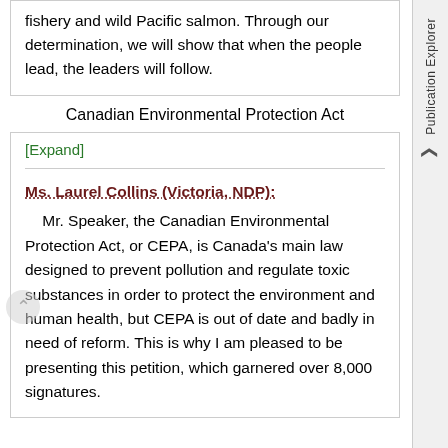fishery and wild Pacific salmon. Through our determination, we will show that when the people lead, the leaders will follow.
Canadian Environmental Protection Act
[Expand]
Ms. Laurel Collins (Victoria, NDP):
Mr. Speaker, the Canadian Environmental Protection Act, or CEPA, is Canada's main law designed to prevent pollution and regulate toxic substances in order to protect the environment and human health, but CEPA is out of date and badly in need of reform. This is why I am pleased to be presenting this petition, which garnered over 8,000 signatures.